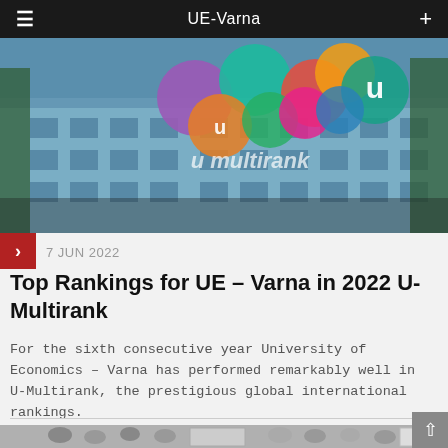UE-Varna
[Figure (photo): University of Economics Varna building facade with U-Multirank colorful logo overlay showing overlapping colored circles with letter U]
7 JUN 2022
Top Rankings for UE – Varna in 2022 U-Multirank
For the sixth consecutive year University of Economics – Varna has performed remarkably well in U-Multirank, the prestigious global international rankings.
[Figure (photo): Group photo of students and faculty in a conference room with a presentation screen showing a document]